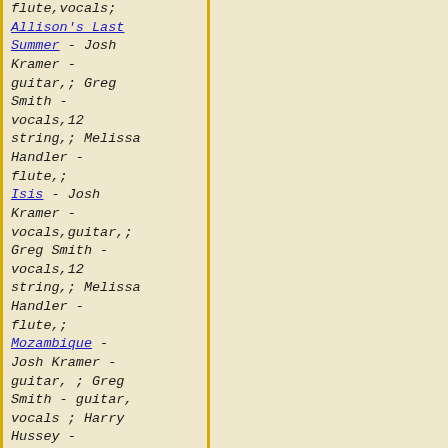flute,vocals; Allison's Last Summer - Josh Kramer - guitar,; Greg Smith - vocals,12 string,; Melissa Handler - flute,; Isis - Josh Kramer - vocals,guitar,; Greg Smith - vocals,12 string,; Melissa Handler - flute,; Mozambique - Josh Kramer - guitar, ; Greg Smith - guitar, vocals ; Harry Hussey -